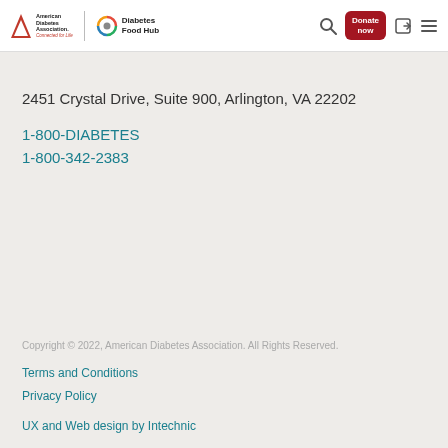[Figure (logo): American Diabetes Association and Diabetes Food Hub logos in website header, with search icon, Donate now button, login icon, and hamburger menu icon]
2451 Crystal Drive, Suite 900, Arlington, VA 22202
1-800-DIABETES
1-800-342-2383
Copyright © 2022, American Diabetes Association. All Rights Reserved.
Terms and Conditions
Privacy Policy
UX and Web design by Intechnic